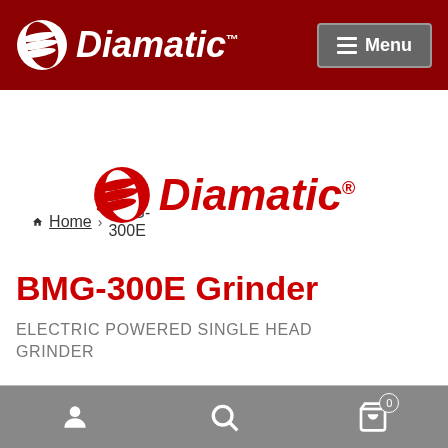Diamatic™ — Menu
Home › BMG-300E
[Figure (logo): Diamatic red logo with globe/circle icon and italic text]
BMG-300E Grinder
ELECTRIC POWERED SINGLE HEAD GRINDER
User icon | Search icon | Cart (0)